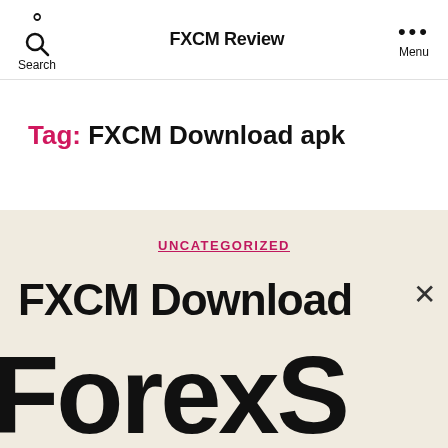FXCM Review
Tag: FXCM Download apk
UNCATEGORIZED
FXCM Download
[Figure (logo): Large 'ForexS' logo text in black and dark blue on beige background, cropped]